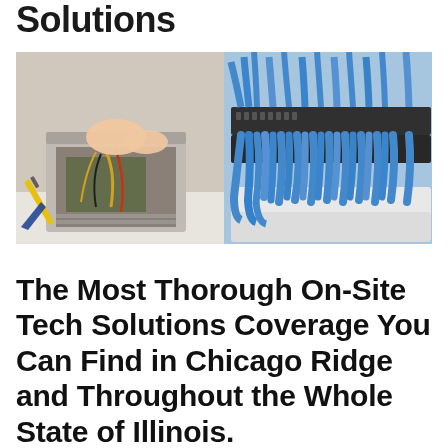Solutions
[Figure (photo): Left half: hands working on open computer tower case with cables and components visible. Right half: patch panel with many blue ethernet cables plugged in.]
The Most Thorough On-Site Tech Solutions Coverage You Can Find in Chicago Ridge and Throughout the Whole State of Illinois.